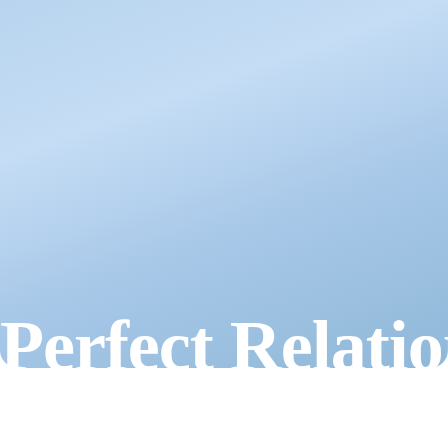[Figure (screenshot): Website header banner with light blue gradient background showing 'Perfect Relation' in large white serif font and 'Perfect Relationship Information' subtitle below]
Perfect Relation
Perfect Relationship Information
Home · Register · Login · Subscribe · PrelationshipInfo
[Figure (other): Social sharing bar with Twitter, Facebook, Email, WhatsApp, SMS, and More buttons]